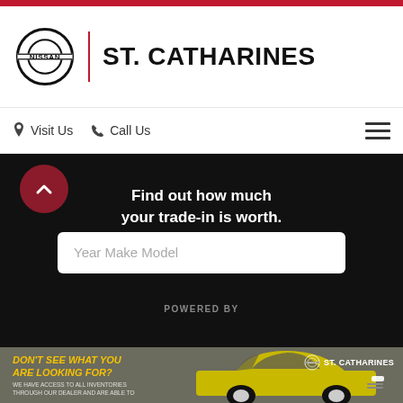[Figure (logo): Nissan St. Catharines dealership logo with Nissan circle emblem and red divider line]
Visit Us  Call Us
Find out how much your trade-in is worth.
Year Make Model
POWERED BY
[Figure (photo): Yellow Nissan sports car (Z) on grey background with ST. CATHARINES dealer branding and text DON'T SEE WHAT YOU ARE LOOKING FOR?]